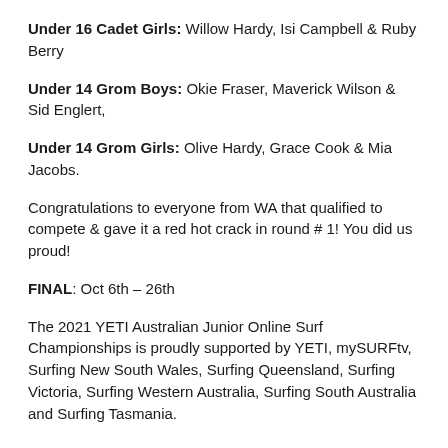Under 16 Cadet Girls: Willow Hardy, Isi Campbell & Ruby Berry
Under 14 Grom Boys: Okie Fraser, Maverick Wilson & Sid Englert,
Under 14 Grom Girls: Olive Hardy, Grace Cook & Mia Jacobs.
Congratulations to everyone from WA that qualified to compete & gave it a red hot crack in round # 1! You did us proud!
FINAL: Oct 6th – 26th
The 2021 YETI Australian Junior Online Surf Championships is proudly supported by YETI, mySURFtv, Surfing New South Wales, Surfing Queensland, Surfing Victoria, Surfing Western Australia, Surfing South Australia and Surfing Tasmania.